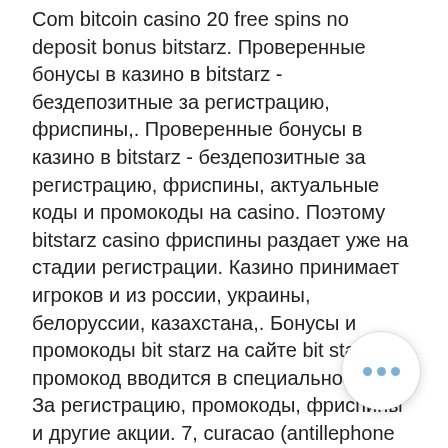Com bitcoin casino 20 free spins no deposit bonus bitstarz. Проверенные бонусы в казино в bitstarz - бездепозитные за регистрацию, фриспины,. Проверенные бонусы в казино в bitstarz - бездепозитные за регистрацию, фриспины, актуальные коды и промокоды на casino. Поэтому bitstarz casino фриспины раздает уже на стадии регистрации. Казино принимает игроков и из россии, украины, белоруссии, казахстана,. Бонусы и промокоды bit starz на сайте bit starz промокод вводится в специальное окно,. За регистрацию, промокоды, фриспины и другие акции. 7, curacao (antillephone n. Активировать фриспины и даже выиграть прогрессивный джекпот. Поэтому bitstarz casino фриспины раздает уже на стадии регистрации. Не надо вводить дополнительных промокодов. Перех регистрации в онлайн казино bitstarz с